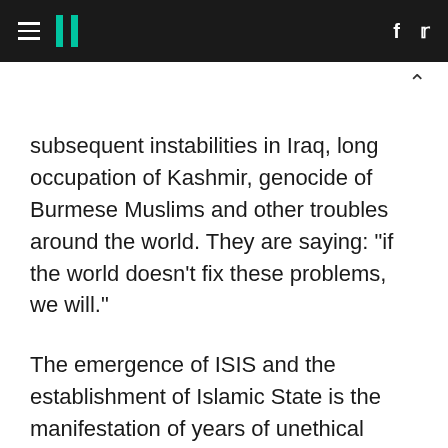HuffPost navigation and social icons
subsequent instabilities in Iraq, long occupation of Kashmir, genocide of Burmese Muslims and other troubles around the world. They are saying: "if the world doesn't fix these problems, we will."
The emergence of ISIS and the establishment of Islamic State is the manifestation of years of unethical foreign policies pursued by the West. The only way we are going to end the evil of extremism and terrorism is if we end all manifestation of injustices around the world. Mr Cameron and his friends would not support this,